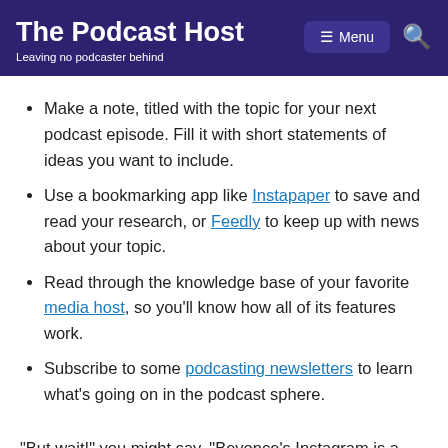The Podcast Host — Leaving no podcaster behind
Make a note, titled with the topic for your next podcast episode. Fill it with short statements of ideas you want to include.
Use a bookmarking app like Instapaper to save and read your research, or Feedly to keep up with news about your topic.
Read through the knowledge base of your favorite media host, so you'll know how all of its features work.
Subscribe to some podcasting newsletters to learn what's going on in the podcast sphere.
"But wait!" you might say. "Beyonce's Instagram is a